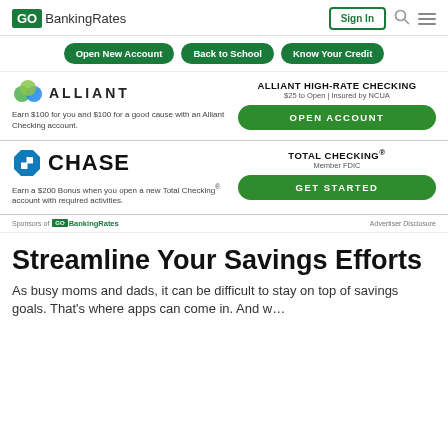GOBankingRates | Sign In
Open New Account
Back to School
Know Your Credit
[Figure (logo): Alliant logo with colorful circles and ALLIANT text]
Earn $100 for you and $100 for a good cause with an Alliant Checking account.
ALLIANT HIGH-RATE CHECKING
$25 to Open | Insured by NCUA
OPEN ACCOUNT
[Figure (logo): Chase logo with octagon icon and CHASE text]
Earn a $200 Bonus when you open a new Total Checking® account with required activities.
TOTAL CHECKING®
Member FDIC
GET STARTED
Sponsors of GOBankingRates
Advertiser Disclosure
Streamline Your Savings Efforts
As busy moms and dads, it can be difficult to stay on top of savings goals. That's where apps can come in. And w...